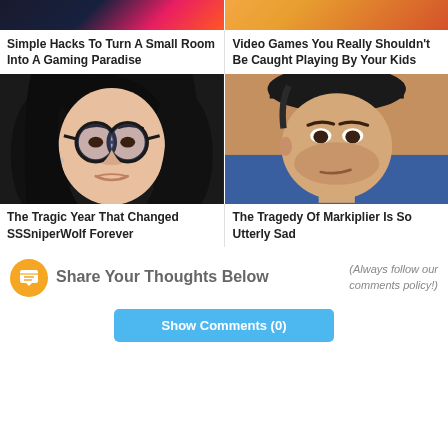[Figure (photo): Top row of two article thumbnail images — left: dark gaming room scene, right: warm-toned person image]
Simple Hacks To Turn A Small Room Into A Gaming Paradise
Video Games You Really Shouldn't Be Caught Playing By Your Kids
[Figure (photo): Woman with black hair and round glasses — SSSniperWolf article thumbnail]
[Figure (photo): Man with headphones and dark hat — Markiplier article thumbnail]
The Tragic Year That Changed SSSniperWolf Forever
The Tragedy Of Markiplier Is So Utterly Sad
Share Your Thoughts Below
(Always follow our comments policy!)
Show Comments (0)